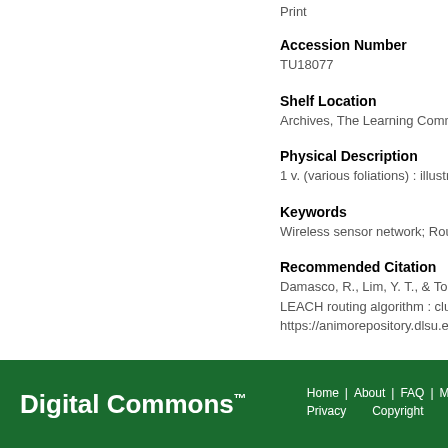Print
Accession Number
TU18077
Shelf Location
Archives, The Learning Comm...
Physical Description
1 v. (various foliations) : illustra...
Keywords
Wireless sensor network; Rout...
Recommended Citation
Damasco, R., Lim, Y. T., & Tolenti...
LEACH routing algorithm : cluster...
https://animorepository.dlsu.edu.p...
Digital Commons™  Home | About | FAQ | My... Privacy  Copyright